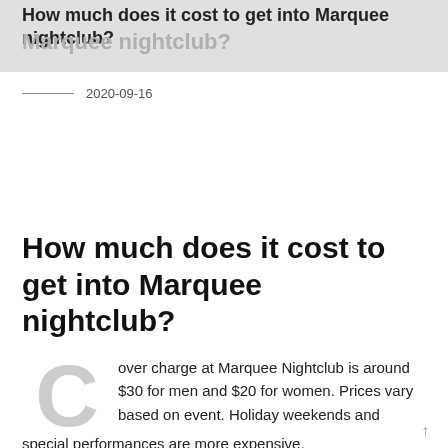How much does it cost to get into Marquee nightclub?
2020-09-16
How much does it cost to get into Marquee nightclub?
Cover charge at Marquee Nightclub is around $30 for men and $20 for women. Prices vary based on event. Holiday weekends and special performances are more expensive.